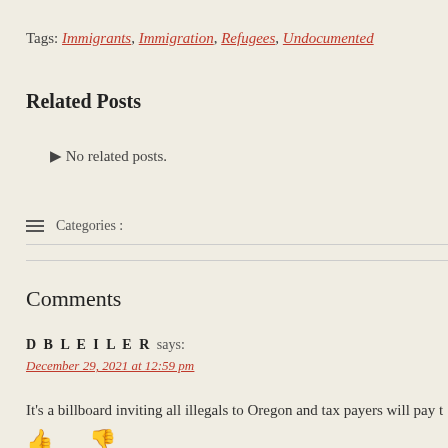Tags: Immigrants, Immigration, Refugees, Undocumented
Related Posts
▶ No related posts.
≡  Categories :
Comments
DBLEILER says:
December 29, 2021 at 12:59 pm
It's a billboard inviting all illegals to Oregon and tax payers will pay t